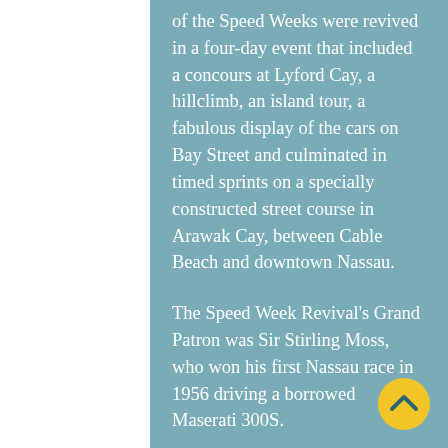of the Speed Weeks were revived in a four-day event that included a concours at Lyford Cay, a hillclimb, an island tour, a fabulous display of the cars on Bay Street and culminated in timed sprints on a specially constructed street course in Arawak Cay, between Cable Beach and downtown Nassau.
The Speed Week Revival's Grand Patron was Sir Stirling Moss, who won his first Nassau race in 1956 driving a borrowed Maserati 300S.
[Figure (other): Yellow circular button with a dark teal upward chevron arrow icon]